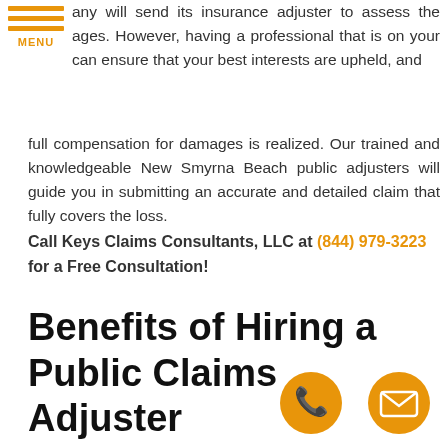[Figure (other): Hamburger menu icon with three orange horizontal bars and MENU label in orange]
any will send its insurance adjuster to assess the ages. However, having a professional that is on your can ensure that your best interests are upheld, and full compensation for damages is realized. Our trained and knowledgeable New Smyrna Beach public adjusters will guide you in submitting an accurate and detailed claim that fully covers the loss.
Call Keys Claims Consultants, LLC at (844) 979-3223 for a Free Consultation!
Benefits of Hiring a Public Claims Adjuster
[Figure (other): Orange circular phone call button icon]
[Figure (other): Orange circular email/envelope button icon]